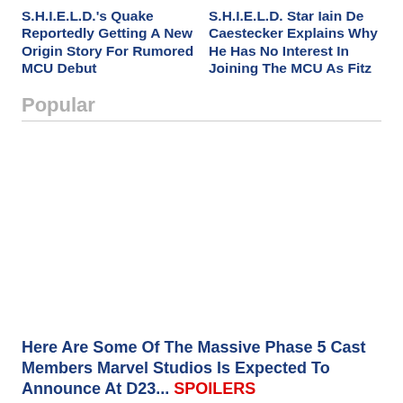S.H.I.E.L.D.'s Quake Reportedly Getting A New Origin Story For Rumored MCU Debut
S.H.I.E.L.D. Star Iain De Caestecker Explains Why He Has No Interest In Joining The MCU As Fitz
Popular
Here Are Some Of The Massive Phase 5 Cast Members Marvel Studios Is Expected To Announce At D23... SPOILERS